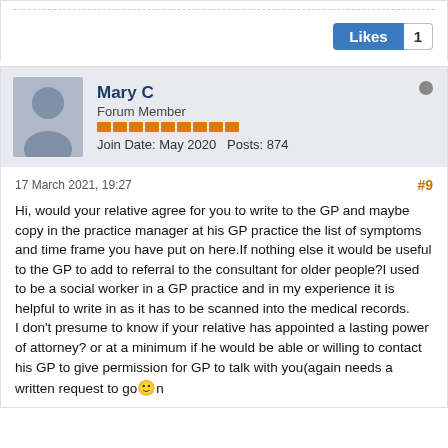[Figure (other): Likes button with count 1 in top-right area]
[Figure (other): Forum user profile: Mary C, Forum Member, Join Date May 2020, Posts 874, with avatar and rep bars]
17 March 2021, 19:27
#9
Hi, would your relative agree for you to write to the GP and maybe copy in the practice manager at his GP practice the list of symptoms and time frame you have put on here.If nothing else it would be useful to the GP to add to referral to the consultant for older people?I used to be a social worker in a GP practice and in my experience it is helpful to write in as it has to be scanned into the medical records.
I don't presume to know if your relative has appointed a lasting power of attorney? or at a minimum if he would be able or willing to contact his GP to give permission for GP to talk with you(again needs a written request to go🙂n